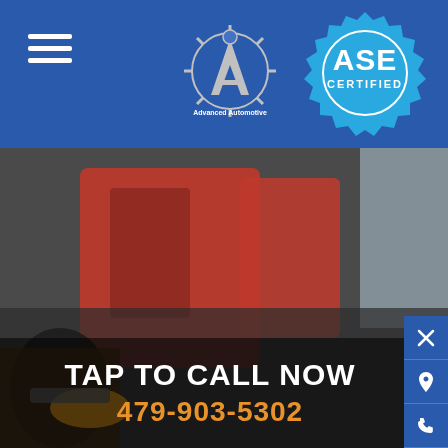[Figure (logo): Blue header bar with hamburger menu icon on left, Advanced Automotive logo in center, and ASE Certified badge on right]
[Figure (photo): Automotive mechanic working on a red vehicle engine, dark blue semi-transparent overlay at bottom showing call-to-action text]
TAP TO CALL NOW
479-903-5302